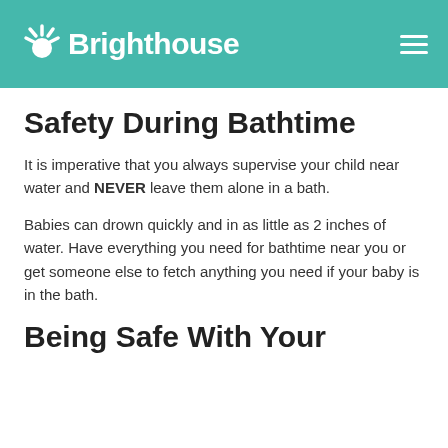Brighthouse
Safety During Bathtime
It is imperative that you always supervise your child near water and NEVER leave them alone in a bath.
Babies can drown quickly and in as little as 2 inches of water. Have everything you need for bathtime near you or get someone else to fetch anything you need if your baby is in the bath.
Being Safe With Your